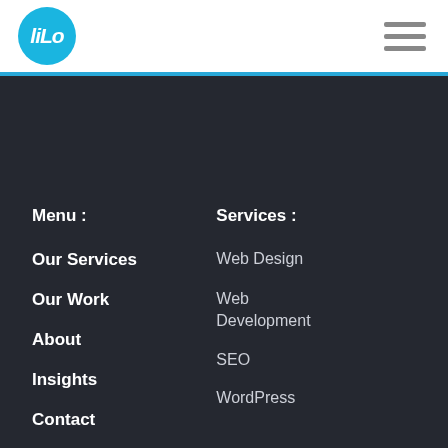[Figure (logo): LiLo logo in a cyan/blue circle with white stylized text]
Menu :
Services :
Our Services
Our Work
About
Insights
Contact
Web Design
Web Development
SEO
WordPress